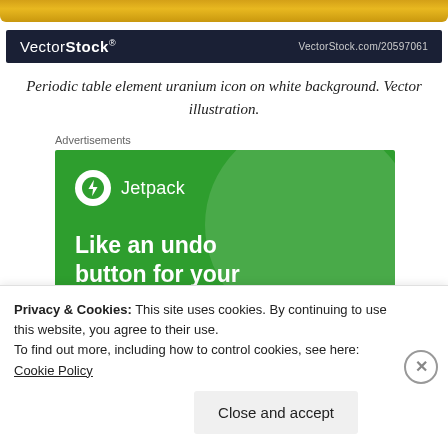[Figure (other): Gold gradient decorative bar at top of page]
VectorStock® | VectorStock.com/20597061
Periodic table element uranium icon on white background. Vector illustration.
Advertisements
[Figure (illustration): Jetpack advertisement banner on green background with large circle, Jetpack logo and text: Like an undo button for your WordPress site]
Privacy & Cookies: This site uses cookies. By continuing to use this website, you agree to their use. To find out more, including how to control cookies, see here: Cookie Policy
Close and accept